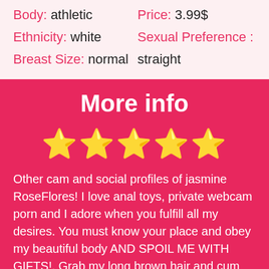Body: athletic
Price: 3.99$
Ethnicity: white
Sexual Preference : straight
Breast Size: normal
More info
[Figure (other): 5 golden stars rating]
Other cam and social profiles of jasmine RoseFlores! I love anal toys, private webcam porn and I adore when you fulfill all my desires. You must know your place and obey my beautiful body AND SPOIL ME WITH GIFTS!. Grab my long brown hair and cum right in my mouth as I squirt! All nude,